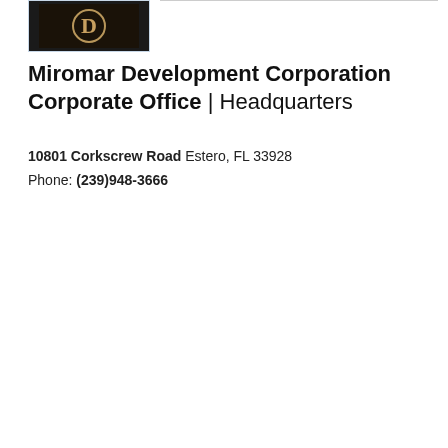[Figure (logo): Miromar Development Corporation logo — dark background with stylized 'D' letter mark in gold/beige, inside a bordered box]
Miromar Development Corporation Corporate Office | Headquarters
10801 Corkscrew Road Estero, FL 33928
Phone: (239)948-3666